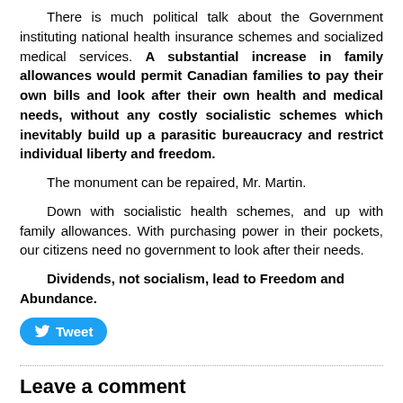There is much political talk about the Government instituting national health insurance schemes and socialized medical services. A substantial increase in family allowances would permit Canadian families to pay their own bills and look after their own health and medical needs, without any costly socialistic schemes which inevitably build up a parasitic bureaucracy and restrict individual liberty and freedom.
The monument can be repaired, Mr. Martin.
Down with socialistic health schemes, and up with family allowances. With purchasing power in their pockets, our citizens need no government to look after their needs.
Dividends, not socialism, lead to Freedom and Abundance.
Leave a comment
You are commenting as guest.